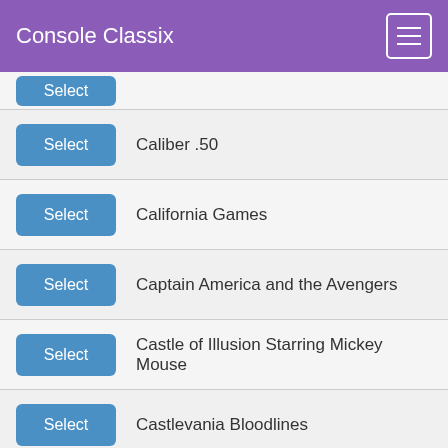Console Classix
Caliber .50
California Games
Captain America and the Avengers
Castle of Illusion Starring Mickey Mouse
Castlevania Bloodlines
Centurion: Defender of Rome
Chakan
Champions World Class Soccer